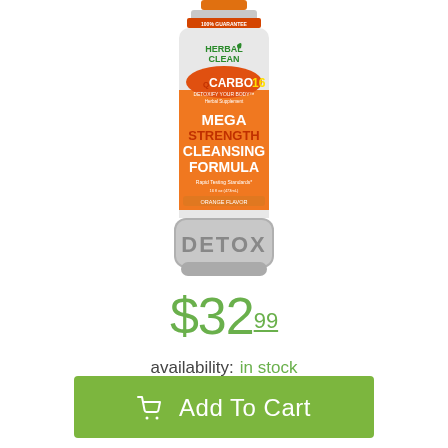[Figure (photo): Herbal Clean QCarbo16 Mega Strength Cleansing Formula Detox drink bottle in orange color with silver base labeled DETOX]
$32.99
availability:  in stock
Add To Cart